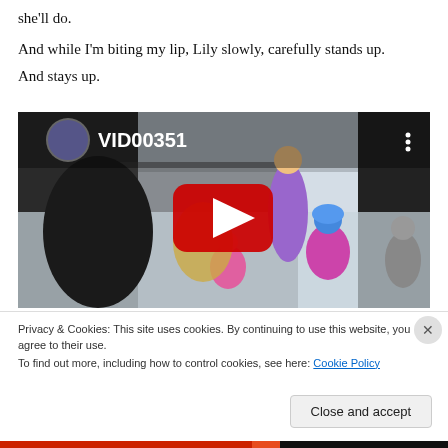she'll do.
And while I'm biting my lip, Lily slowly, carefully stands up.
And stays up.
[Figure (screenshot): YouTube video thumbnail showing children ice skating on a rink. Video title/ID shown as VID00351 with a YouTube play button overlay.]
Privacy & Cookies: This site uses cookies. By continuing to use this website, you agree to their use.
To find out more, including how to control cookies, see here: Cookie Policy
Close and accept